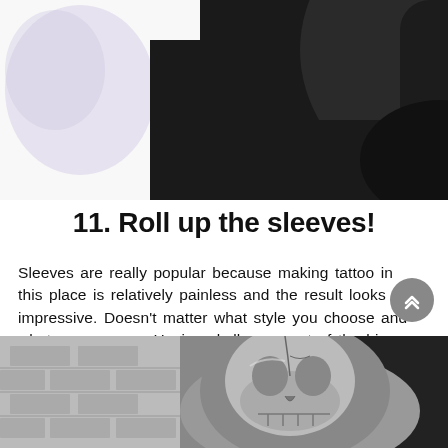[Figure (photo): Top portion of a tattooed arm/sleeve tattoo with colorful skull and intricate designs against dark background, partially visible at top of page with a light purple abstract shape on the left]
11. Roll up the sleeves!
Sleeves are really popular because making tattoo in this place is relatively painless and the result looks impressive. Doesn’t matter what style you choose and what sex you are. Having skull as a part of the bigger tattoo, exposed quite often to other’s eyes, will instantly make you feel like a rock star.
[Figure (photo): Black and white photo showing a skull tattoo on someone's hand/fist, with brick wall visible on the left side and dark background on the right]